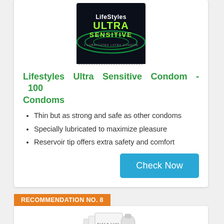[Figure (photo): LifeStyles Ultra Sensitive condom package — dark background with green branding]
Lifestyles Ultra Sensitive Condom - 100 Condoms
Thin but as strong and safe as other condoms
Specially lubricated to maximize pleasure
Reservoir tip offers extra safety and comfort
RECOMMENDATION NO. 8
[Figure (photo): Buzz B-Gone ZAP product box — white packaging]